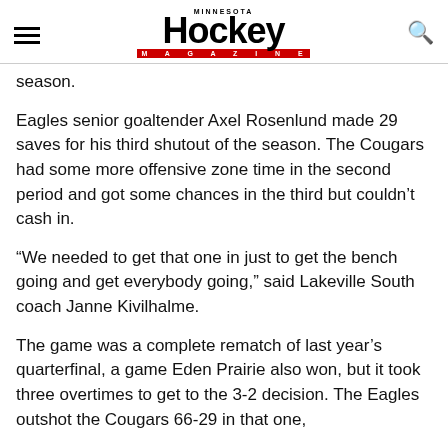Minnesota Hockey Magazine
season.
Eagles senior goaltender Axel Rosenlund made 29 saves for his third shutout of the season. The Cougars had some more offensive zone time in the second period and got some chances in the third but couldn't cash in.
“We needed to get that one in just to get the bench going and get everybody going,” said Lakeville South coach Janne Kivilhalme.
The game was a complete rematch of last year’s quarterfinal, a game Eden Prairie also won, but it took three overtimes to get to the 3-2 decision. The Eagles outshot the Cougars 66-29 in that one,